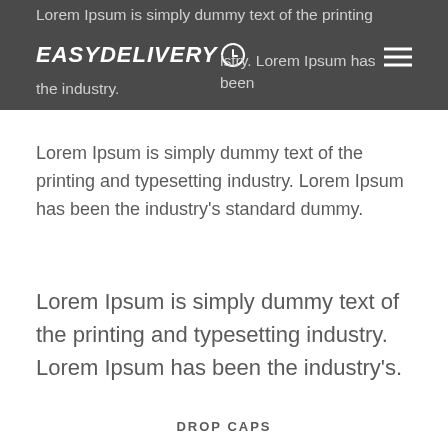Lorem Ipsum is simply dummy text of the printing and typesetting industry. EASYDELIVERY Lorem Ipsum has been the industry.
Lorem Ipsum is simply dummy text of the printing and typesetting industry. Lorem Ipsum has been the industry’s standard dummy.
Lorem Ipsum is simply dummy text of the printing and typesetting industry. Lorem Ipsum has been the industry’s.
DROP CAPS